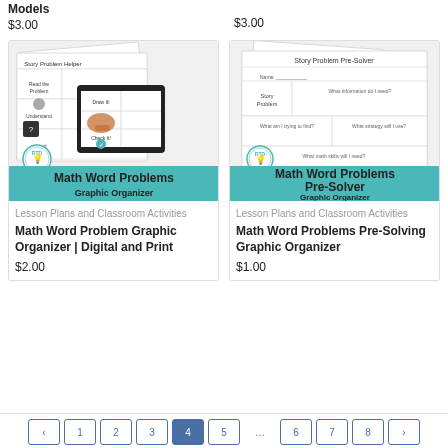Models
$3.00
$3.00
[Figure (illustration): Math Word Problem Graphic Organizer product thumbnail showing worksheet with Read the Problem, Understand, Go Ahead sections and tablet with Draw It and Check It sections, with RTD lightbulb logo, teal banner reading Math Word Problems Graphic Organizer]
[Figure (illustration): Math Word Problems Pre-Solver Graphic Organizer product thumbnail showing worksheet with Story Problem, What information do I need, What am I trying to find, What strategy will I use sections, RTD lightbulb logo, teal banner reading Math Word Problems Pre-Solver Graphic Organizer]
Lesson Plans and Classroom Activities
Math Word Problem Graphic Organizer | Digital and Print
$2.00
Lesson Plans and Classroom Activities
Math Word Problems Pre-Solving Graphic Organizer
$1.00